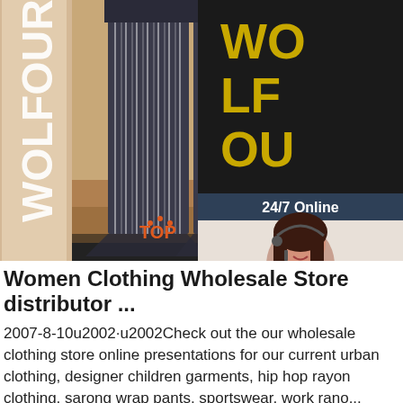[Figure (photo): Product photo of striped wide-leg pants on a mannequin/display, with WOLFOUR brand text watermark on the left side. Background is beige/tan. Top-right corner shows a dark side panel with '24/7 Online' text, a customer service agent photo (woman with headset), 'Click here for free chat!' text, and an orange QUOTATION button. A TOP icon watermark appears in the lower right of the image area.]
Women Clothing Wholesale Store distributor ...
2007-8-10u2002·u2002Check out the our wholesale clothing store online presentations for our current urban clothing, designer children garments, hip hop rayon clothing, sarong wrap pants, sportswear, work rano...